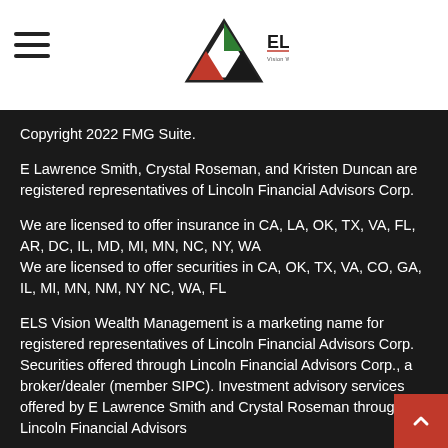[Figure (logo): ELS Vision Wealth Management logo — triangle with red/green/black colors and ELS text]
Copyright 2022 FMG Suite.
E Lawrence Smith, Crystal Roseman, and Kristen Duncan are registered representatives of Lincoln Financial Advisors Corp.
We are licensed to offer insurance in CA, LA, OK, TX, VA, FL, AR, DC, IL, MD, MI, MN, NC, NY, WA
We are licensed to offer securities in CA, OK, TX, VA, CO, GA, IL, MI, MN, NM, NY NC, WA, FL
ELS Vision Wealth Management is a marketing name for registered representatives of Lincoln Financial Advisors Corp. Securities offered through Lincoln Financial Advisors Corp., a broker/dealer (member SIPC). Investment advisory services offered by E Lawrence Smith and Crystal Roseman through Lincoln Financial Advisors Corp., a registered investment advisor.